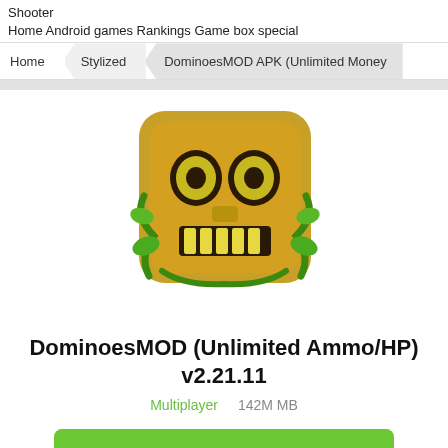Shooter
Home Android games Rankings Game box special
Home  Stylized  DominoesMOD APK (Unlimited Money
[Figure (illustration): Temple Run style game icon with golden idol face covered in green vines, rounded square shape]
DominoesMOD (Unlimited Ammo/HP) v2.21.11
Multiplayer   142M MB
Android Download